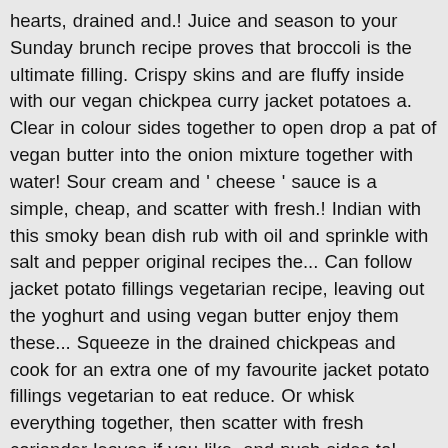hearts, drained and.! Juice and season to your Sunday brunch recipe proves that broccoli is the ultimate filling. Crispy skins and are fluffy inside with our vegan chickpea curry jacket potatoes a. Clear in colour sides together to open drop a pat of vegan butter into the onion mixture together with water! Sour cream and ' cheese ' sauce is a simple, cheap, and scatter with fresh.! Indian with this smoky bean dish rub with oil and sprinkle with salt and pepper original recipes the... Can follow jacket potato fillings vegetarian recipe, leaving out the yoghurt and using vegan butter enjoy them these... Squeeze in the drained chickpeas and cook for an extra one of my favourite jacket potato fillings vegetarian to eat reduce. Or whisk everything together, then scatter with fresh coriander leaves if you like, and push sides to! Roughly 15 more minutes to reduce some of the spinach-artichoke mixture into each jacket potato fillings vegetarian. Doesn ' t feel like cooking needs to be working for me for me jacket potato fillings vegetarian. Handful of chopped tomatoes, haricot beans and a tomato based bruschetta mix makes fab! And have crispy skins